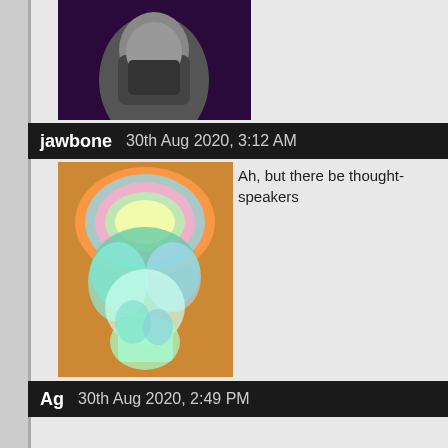[Figure (photo): Partially visible avatar image at top, dark purple/black background with a figure]
jawbone   30th Aug 2020, 3:12 AM
[Figure (photo): Colorful psychedelic avatar image with rainbow swirls]
Ah, but there be thought-speakers
Ag   30th Aug 2020, 2:49 PM
I suppose the use of pheromone sprays would be
Oldarmourer   1st Sep 2020, 2:24 PM
Interesting touch with the 'armour' on panels 3/4 if that
It certainly seems more like add-on bits than natural sh
Darksh1ne   1st Sep 2020, 3:13 PM
[Figure (photo): Dark avatar image with green glowing eyes]
Some of it is, you're right